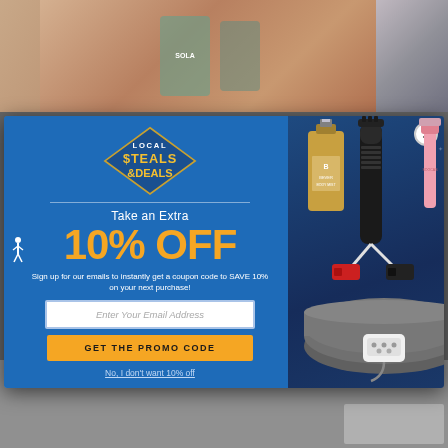[Figure (screenshot): Top background bar showing product images (SOLA bottle and other items) on warm brown/tan gradient background with a smaller image on right side]
[Figure (infographic): Local Steals & Deals promotional modal popup with blue background. Left panel shows logo, 'Take an Extra 10% OFF' offer, email signup form with 'Enter Your Email Address' placeholder, 'GET THE PROMO CODE' yellow button, and 'No, I don't want 10% off' link. Right panel shows product images: perfume bottle, black flashlight/jumper cables, pink razor, heated blanket with controller.]
[Figure (screenshot): Bottom gray background area of webpage]